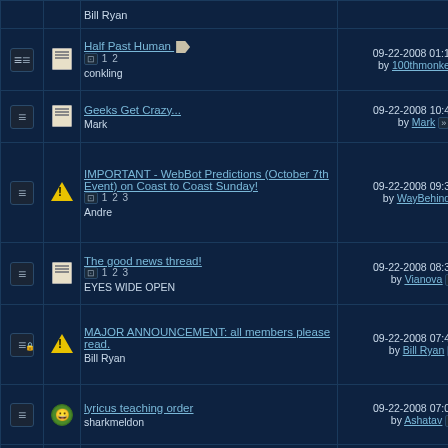|  |  | Thread | Last Post | Replies | Views |
| --- | --- | --- | --- | --- | --- |
|  |  | Bill Ryan |  |  |  |
| icon | doc | Half Past Human (1 2)
conkling | 09-22-2008 01:14 PM by 100thmonkey | 34 | 12,5 |
| icon | doc | Geeks Get Crazy...
Mark | 09-22-2008 10:47 AM by Mark | 9 | 4,31 |
| icon | warn | IMPORTANT - WebBot Predictions (October 7th Event) on Coast to Coast Sunday! (1 2 3)
Andre | 09-22-2008 09:31 AM by WayBehind | 64 | 16,8 |
| icon | doc | The good news thread! (1 2 3)
EYES WIDE OPEN | 09-22-2008 08:38 AM by Vianova | 62 | 12,5 |
| icon-lock | warn | MAJOR ANNOUNCEMENT: all members please read.
Bill Ryan | 09-22-2008 07:45 AM by Bill Ryan | 0 | 6,34 |
| icon | smiley | lyricus teaching order
sharkmeldon | 09-22-2008 07:07 AM by Ashatav | 5 | 3,61 |
| icon | doc | Oct 14 prediction !
Morphious | 09-22-2008 06:33 AM by dragonfly | 3 | 3,88 |